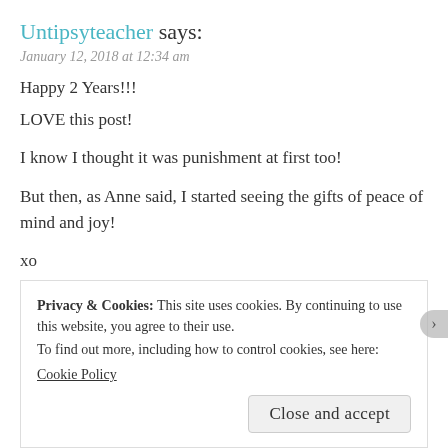Untipsyteacher says:
January 12, 2018 at 12:34 am
Happy 2 Years!!!
LOVE this post!

I know I thought it was punishment at first too!
But then, as Anne said, I started seeing the gifts of peace of mind and joy!

xo
Wendy
★ Liked by 1 person
REPLY
Privacy & Cookies: This site uses cookies. By continuing to use this website, you agree to their use.
To find out more, including how to control cookies, see here:
Cookie Policy
Close and accept